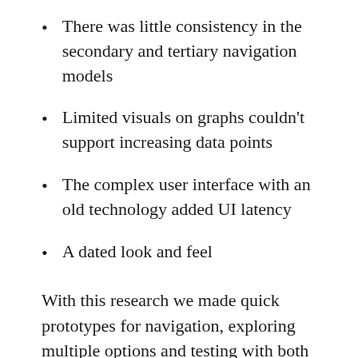There was little consistency in the secondary and tertiary navigation models
Limited visuals on graphs couldn't support increasing data points
The complex user interface with an old technology added UI latency
A dated look and feel
With this research we made quick prototypes for navigation, exploring multiple options and testing with both internal and external users. We simultaneously started building our design system and mapped components that were needed for new features. The design and development happened simultaneously here